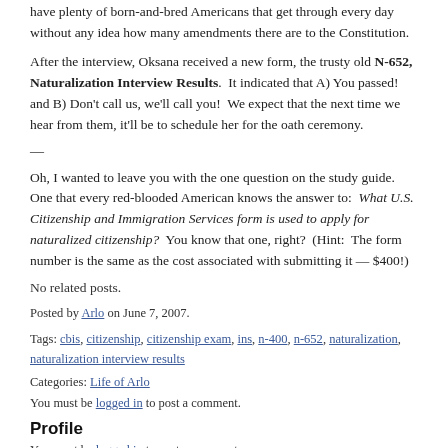have plenty of born-and-bred Americans that get through every day without any idea how many amendments there are to the Constitution.
After the interview, Oksana received a new form, the trusty old N-652, Naturalization Interview Results. It indicated that A) You passed! and B) Don't call us, we'll call you! We expect that the next time we hear from them, it'll be to schedule her for the oath ceremony.
—
Oh, I wanted to leave you with the one question on the study guide. One that every red-blooded American knows the answer to: What U.S. Citizenship and Immigration Services form is used to apply for naturalized citizenship? You know that one, right? (Hint: The form number is the same as the cost associated with submitting it — $400!)
No related posts.
Posted by Arlo on June 7, 2007.
Tags: cbis, citizenship, citizenship exam, ins, n-400, n-652, naturalization, naturalization interview results
Categories: Life of Arlo
You must be logged in to post a comment.
Profile
You must be logged in to post a comment.